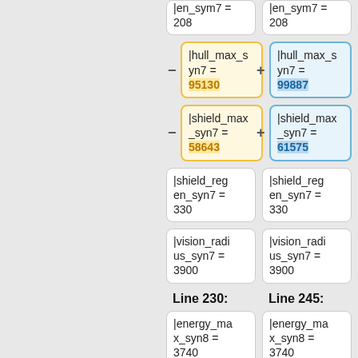|en_sym7 = 208
|en_sym7 = 208
|hull_max_syn7 = 95130
|hull_max_syn7 = 99887
|shield_max_syn7 = 58643
|shield_max_syn7 = 61575
|shield_regen_syn7 = 330
|shield_regen_syn7 = 330
|vision_radius_syn7 = 3900
|vision_radius_syn7 = 3900
Line 230:
Line 245:
|energy_max_syn8 = 3740
|energy_max_syn8 = 3740
|energy_regen_syn8 = 208
|energy_regen_syn8 = 208